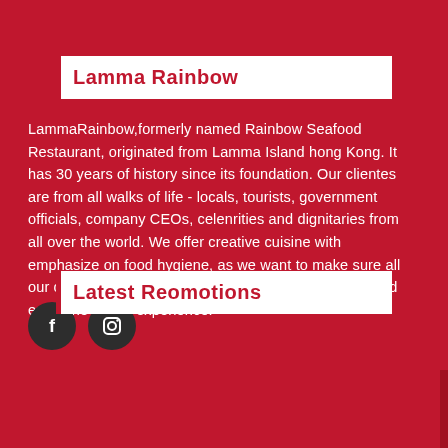Lamma Rainbow
LammaRainbow,formerly named Rainbow Seafood Restaurant, originated from Lamma Island hong Kong. It has 30 years of history since its foundation. Our clientes are from all walks of life - locals, tourists, government officials, company CEOs, celenrities and dignitaries from all over the world. We offer creative cuisine with emphasize on food hygiene, as we want to make sure all our customers would taste the best of fresh seafood and enjoy the dining experience.
[Figure (illustration): Two social media icon circles: Facebook (f) and Instagram (camera/circle) icons in dark circles]
Latest Reomotions